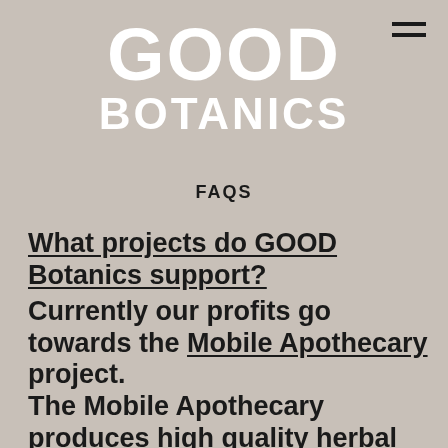GOOD BOTANICS
FAQS
What projects do GOOD Botanics support?
Currently our profits go towards the Mobile Apothecary project. The Mobile Apothecary produces high quality herbal medicine for free distribution to individuals experiencing homelessness on the streets of London.
What packaging materials does GOOD Botanics use?